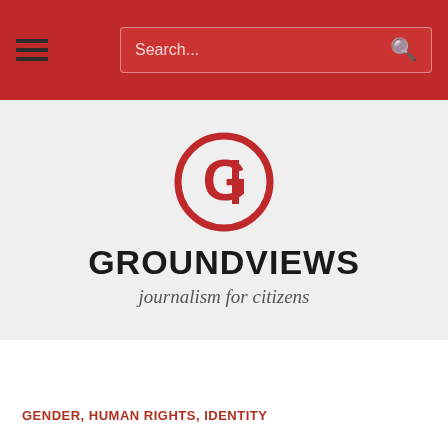Search...
[Figure (logo): Groundviews logo: circular red G emblem with a vertical bar inside, above bold text GROUNDVIEWS and italic tagline 'journalism for citizens']
GROUNDVIEWS
journalism for citizens
GENDER, HUMAN RIGHTS, IDENTITY